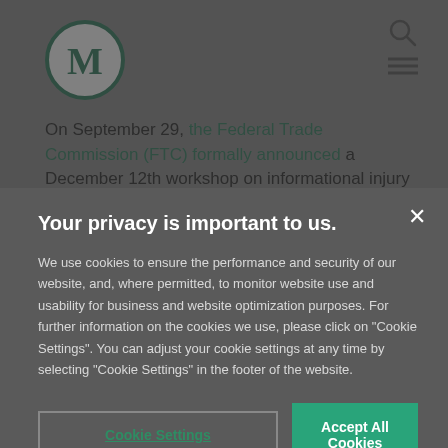[Figure (logo): Circular logo with letter M in dark teal/green color on white background]
On September 29, the Federal Trade Commission (FTC) formally announced a December 12th workshop on informational injury—the injury a
Your privacy is important to us.
We use cookies to ensure the performance and security of our website, and, where permitted, to monitor website use and usability for business and website optimization purposes. For further information on the cookies we use, please click on "Cookie Settings". You can adjust your cookie settings at any time by selecting "Cookie Settings" in the footer of the website.
Cookie Settings
Accept All Cookies